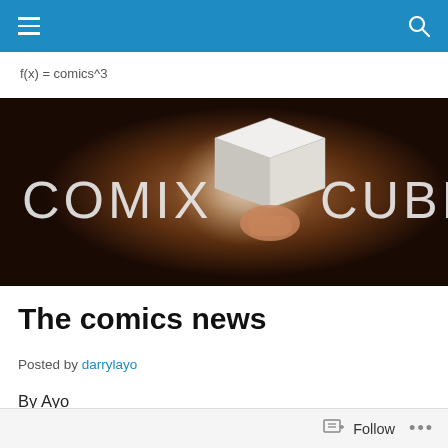navigation bar with menu and search icons
f(x) = comics^3
[Figure (photo): Comix Cube banner image showing a glowing cube held by a hand against a dark brown background with the text COMIX CUBE]
The comics news
Posted by darrylayo
By Ayo
Marvel Comics News:
Follow ...